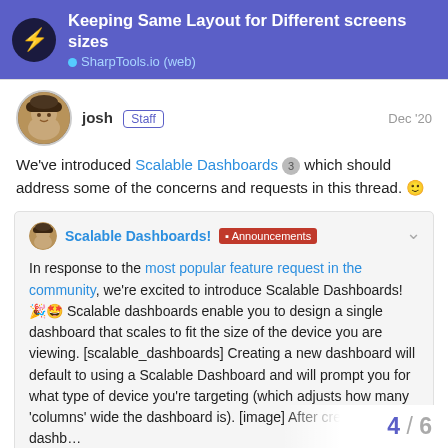Keeping Same Layout for Different screens sizes — SharpTools.io (web)
josh [Staff] Dec '20
We've introduced Scalable Dashboards 3 which should address some of the concerns and requests in this thread. 🙂
Scalable Dashboards! Announcements — In response to the most popular feature request in the community, we're excited to introduce Scalable Dashboards! 🎉🤩 Scalable dashboards enable you to design a single dashboard that scales to fit the size of the device you are viewing. [scalable_dashboards] Creating a new dashboard will default to using a Scalable Dashboard and will prompt you for what type of device you're targeting (which adjusts how many 'columns' wide the dashboard is). [image] After creating the dashb…
4 / 6